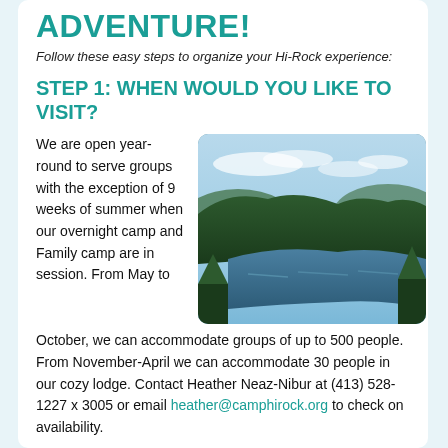ADVENTURE!
Follow these easy steps to organize your Hi-Rock experience:
STEP 1: WHEN WOULD YOU LIKE TO VISIT?
We are open year-round to serve groups with the exception of 9 weeks of summer when our overnight camp and Family camp are in session. From May to October, we can accommodate groups of up to 500 people. From November-April we can accommodate 30 people in our cozy lodge. Contact Heather Neaz-Nibur at (413) 528-1227 x 3005 or email heather@camphirock.org to check on availability.
[Figure (photo): Aerial view of a forested lake surrounded by green trees under a partly cloudy sky]